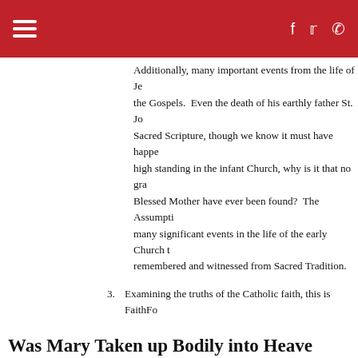≡  f  🐦  📞
Additionally, many important events from the life of Jesus are not in the Gospels. Even the death of his earthly father St. Joseph is not in Sacred Scripture, though we know it must have happened. Given her high standing in the infant Church, why is it that no grave relics of the Blessed Mother have ever been found? The Assumption fits in with many significant events in the life of the early Church that are remembered and witnessed from Sacred Tradition.
3. Examining the truths of the Catholic faith, this is FaithFo...
Was Mary Taken up Bodily into Heave...
Source:
Audio: FF - Assumption of Mary 2.mp3
1. The Catholic Church teaches that Mary, the Mother of God, was assumed Body and Soul into Heavenly Glory.
2. While many Christians think this is impossible, the Assu...